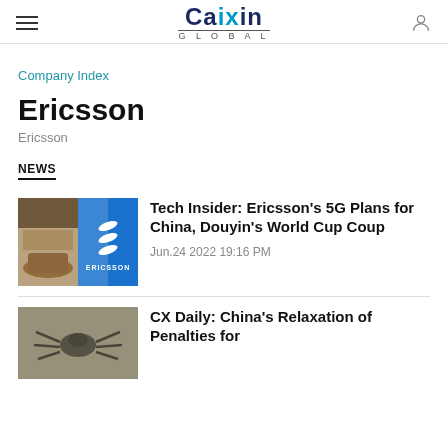Caixin Global
Company Index
Ericsson
Ericsson
NEWS
[Figure (photo): Ericsson trade show booth with blue logo signage]
Tech Insider: Ericsson's 5G Plans for China, Douyin's World Cup Coup
Jun.24 2022 19:16 PM
[Figure (photo): Close-up photo of a spider or crab]
CX Daily: China's Relaxation of Penalties for